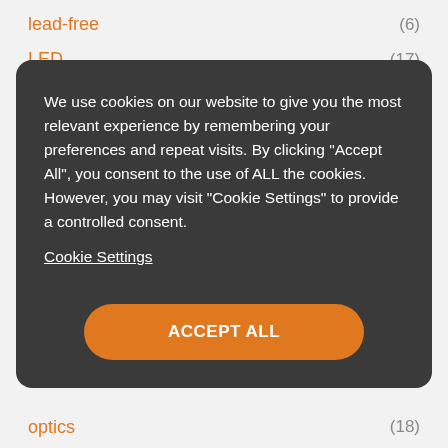lead-free (6)
LED (17)
We use cookies on our website to give you the most relevant experience by remembering your preferences and repeat visits. By clicking "Accept All", you consent to the use of ALL the cookies. However, you may visit "Cookie Settings" to provide a controlled consent.
Cookie Settings
ACCEPT ALL
optics (18)